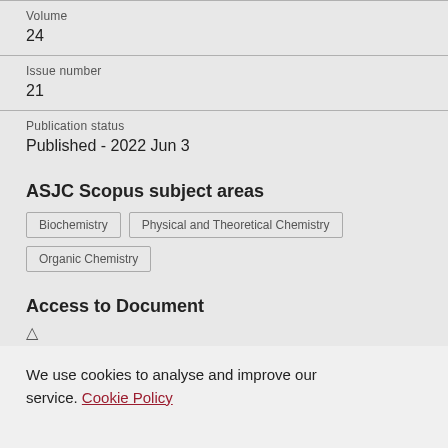Volume
24
Issue number
21
Publication status
Published - 2022 Jun 3
ASJC Scopus subject areas
Biochemistry
Physical and Theoretical Chemistry
Organic Chemistry
Access to Document
We use cookies to analyse and improve our service. Cookie Policy